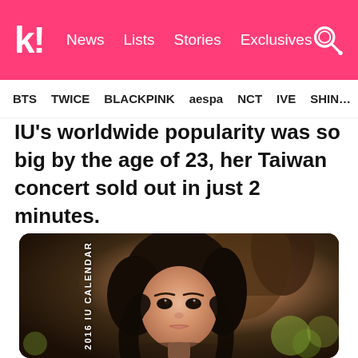k! News  Lists  Stories  Exclusives
BTS  TWICE  BLACKPINK  aespa  NCT  IVE  SHINee
IU's worldwide popularity was so big by the age of 23, her Taiwan concert sold out in just 2 minutes.
[Figure (photo): Photo of IU from the 2016 IU Calendar. A young woman with dark hair against a natural background with trees. Text '2016 IU CALENDAR' printed vertically on the left side.]